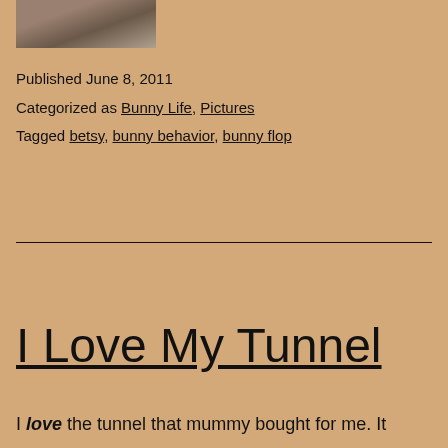[Figure (photo): Partial photo of a rabbit or animal, cropped at top of page]
Published June 8, 2011
Categorized as Bunny Life, Pictures
Tagged betsy, bunny behavior, bunny flop
I Love My Tunnel
I love the tunnel that mummy bought for me. It